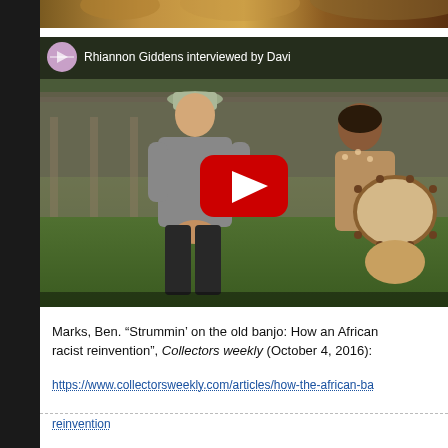[Figure (screenshot): Partial image at top of page showing what appears to be a person or musical instrument, cropped]
[Figure (screenshot): YouTube video embed thumbnail showing 'Rhiannon Giddens interviewed by Davi...' with two people seated outdoors, one holding a drum-like instrument, with a red YouTube play button in the center]
Marks, Ben. “Strummin’ on the old banjo: How an African... racist reinvention”, Collectors weekly (October 4, 2016):
https://www.collectorsweekly.com/articles/how-the-african-ba...
reinvention